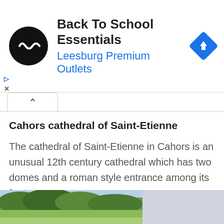[Figure (screenshot): Advertisement banner for Back To School Essentials at Leesburg Premium Outlets, with circular black logo with infinity-like symbol, navigation diamond icon]
Cahors cathedral of Saint-Etienne
The cathedral of Saint-Etienne in Cahors is an unusual 12th century cathedral which has two domes and a roman style entrance among its features
Cahors cathedral of Saint-Etienne guide
[Figure (photo): Landscape photo showing trees and hillside with sky, partially visible at bottom of page]